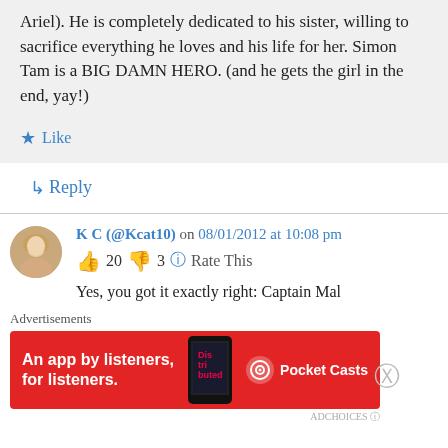Ariel). He is completely dedicated to his sister, willing to sacrifice everything he loves and his life for her. Simon Tam is a BIG DAMN HERO. (and he gets the girl in the end, yay!)
★ Like
↳ Reply
K C (@Kcat10) on 08/01/2012 at 10:08 pm
👍 20 👎 3 ℹ Rate This
Yes, you got it exactly right: Captain Mal
Advertisements
[Figure (other): Red advertisement banner for Pocket Casts app: 'An app by listeners, for listeners.' with phone graphic and Pocket Casts logo]